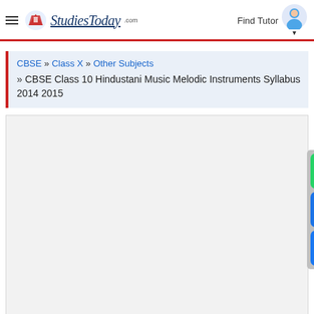StudiesToday.com — Find Tutor
CBSE » Class X » Other Subjects » CBSE Class 10 Hindustani Music Melodic Instruments Syllabus 2014 2015
[Figure (screenshot): Empty content area / advertisement placeholder with light gray background]
[Figure (infographic): Social sharing sidebar with WhatsApp, Email, and Facebook buttons]